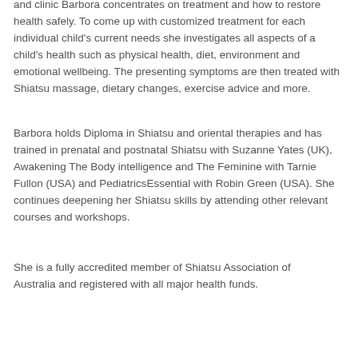... and clinic Barbora concentrates on treatment and how to restore health safely. To come up with customized treatment for each individual child's current needs she investigates all aspects of a child's health such as physical health, diet, environment and emotional wellbeing. The presenting symptoms are then treated with Shiatsu massage, dietary changes, exercise advice and more.
Barbora holds Diploma in Shiatsu and oriental therapies and has trained in prenatal and postnatal Shiatsu with Suzanne Yates (UK), Awakening The Body intelligence and The Feminine with Tarnie Fullon (USA) and PediatricsEssential with Robin Green (USA). She continues deepening her Shiatsu skills by attending other relevant courses and workshops.
She is a fully accredited member of Shiatsu Association of Australia and registered with all major health funds.